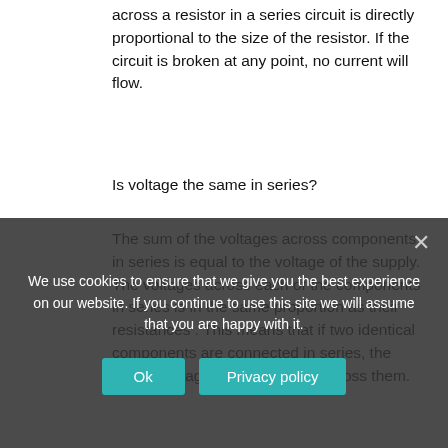across a resistor in a series circuit is directly proportional to the size of the resistor. If the circuit is broken at any point, no current will flow.
Is voltage the same in series?
The sum of the voltages across components in series is equal to the voltage of the supply. The voltages across each of the components in series is in the same proportion as their resistances . This means that if two identical components are connected in series, the supply voltage divides equally across them.
Are e and V same?
The term E denotes the electric field and the term V denotes the potential difference.
Is e and V the same?
But a "Joule per Coulomb" (J/C) is also known as a volt (V), and the electric potential is thus often referred t
We use cookies to ensure that we give you the best experience on our website. If you continue to use this site we will assume that you are happy with it.